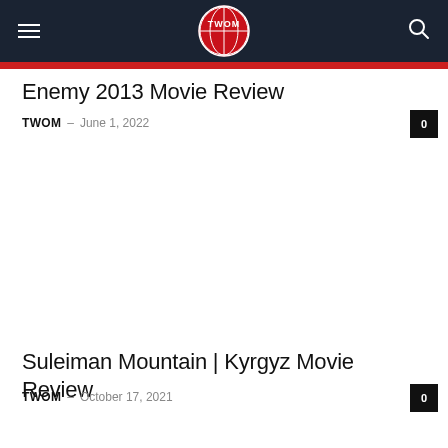TWOM
Enemy 2013 Movie Review
TWOM – June 1, 2022
Suleiman Mountain | Kyrgyz Movie Review
TWOM – October 17, 2021